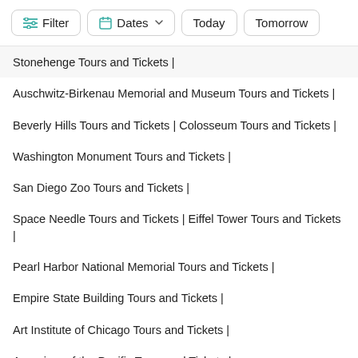Filter | Dates | Today | Tomorrow
Stonehenge Tours and Tickets |
Auschwitz-Birkenau Memorial and Museum Tours and Tickets |
Beverly Hills Tours and Tickets | Colosseum Tours and Tickets |
Washington Monument Tours and Tickets |
San Diego Zoo Tours and Tickets |
Space Needle Tours and Tickets | Eiffel Tower Tours and Tickets |
Pearl Harbor National Memorial Tours and Tickets |
Empire State Building Tours and Tickets |
Art Institute of Chicago Tours and Tickets |
Aquarium of the Pacific Tours and Tickets |
Blue Lagoon Tours and Tickets | Burj Khalifa Tours and Tickets |
Metropolitan Museum of Art (The Met) Tours and Tickets